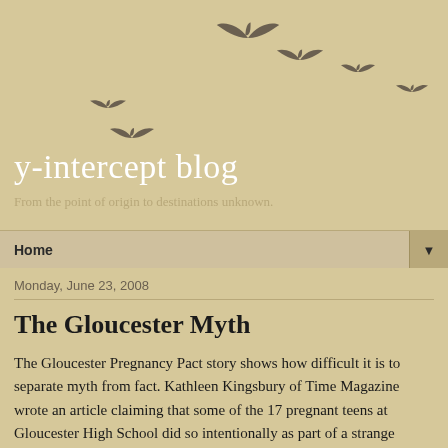[Figure (illustration): Silhouettes of birds in flight arranged in an arc pattern on a tan/beige background, forming the blog header decoration]
y-intercept blog
From the point of origin to destinations unknown.
Home ▼
Monday, June 23, 2008
The Gloucester Myth
The Gloucester Pregnancy Pact story shows how difficult it is to separate myth from fact. Kathleen Kingsbury of Time Magazine wrote an article claiming that some of the 17 pregnant teens at Gloucester High School did so intentionally as part of a strange pregnancy pact.